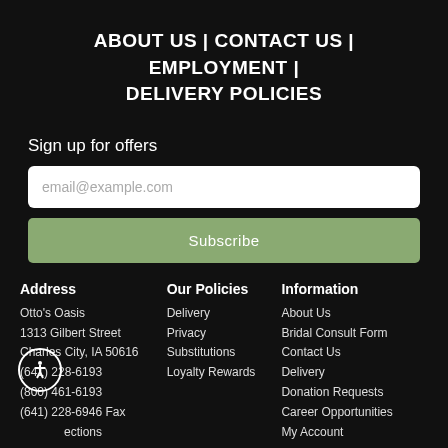ABOUT US | CONTACT US | EMPLOYMENT | DELIVERY POLICIES
Sign up for offers
email@example.com
Subscribe
Address
Otto's Oasis
1313 Gilbert Street
Charles City, IA 50616
(641) 228-6193
(800) 461-6193
(641) 228-6946 Fax
Directions
Our Policies
Delivery
Privacy
Substitutions
Loyalty Rewards
Information
About Us
Bridal Consult Form
Contact Us
Delivery
Donation Requests
Career Opportunities
My Account
Store Hours